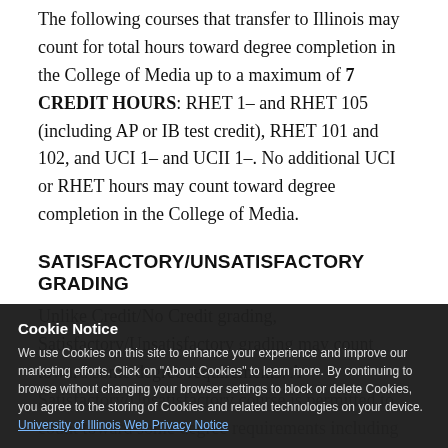The following courses that transfer to Illinois may count for total hours toward degree completion in the College of Media up to a maximum of 7 CREDIT HOURS: RHET 1– and RHET 105 (including AP or IB test credit), RHET 101 and 102, and UCI 1– and UCII 1–. No additional UCI or RHET hours may count toward degree completion in the College of Media.
SATISFACTORY/UNSATISFACTORY GRADING
Unlike Credit/No Credit grading, Satisfactory/Unsatisfactory grading may count toward some degree requirements. A Satisfactory/Unsatisfactory course is permitted to count toward some degree requirements including Area of Study, 100-200-level College of Media electives, and toward those requiring ADVANCED (300-400-level hours) inside of the College of Media or outside of the College
Cookie Notice
We use Cookies on this site to enhance your experience and improve our marketing efforts. Click on "About Cookies" to learn more. By continuing to browse without changing your browser settings to block or delete Cookies, you agree to the storing of Cookies and related technologies on your device. University of Illinois Web Privacy Notice